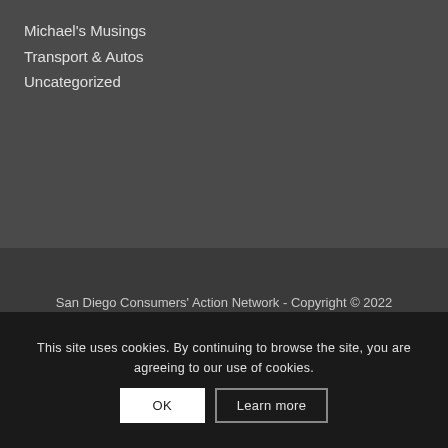Michael's Musings
Transport & Autos
Uncategorized
San Diego Consumers' Action Network - Copyright © 2022
Design by
Superior Web Solutions
This site uses cookies. By continuing to browse the site, you are agreeing to our use of cookies.
OK
Learn more